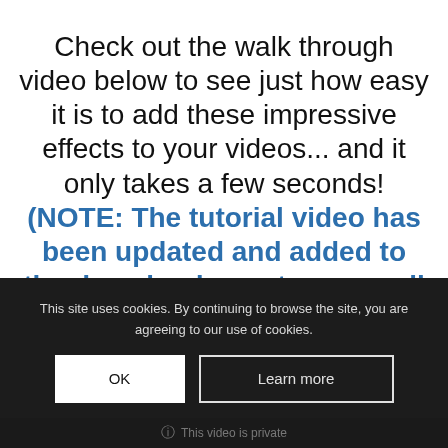Check out the walk through video below to see just how easy it is to add these impressive effects to your videos... and it only takes a few seconds! (NOTE: The tutorial video has been updated and added to the download area to cover all the new features we recently added!)
This site uses cookies. By continuing to browse the site, you are agreeing to our use of cookies.
OK
Learn more
This video is private